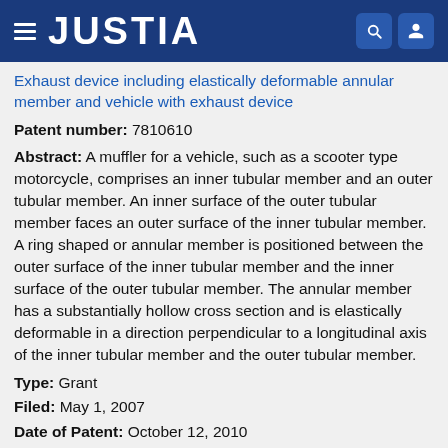JUSTIA
Exhaust device including elastically deformable annular member and vehicle with exhaust device
Patent number: 7810610
Abstract: A muffler for a vehicle, such as a scooter type motorcycle, comprises an inner tubular member and an outer tubular member. An inner surface of the outer tubular member faces an outer surface of the inner tubular member. A ring shaped or annular member is positioned between the outer surface of the inner tubular member and the inner surface of the outer tubular member. The annular member has a substantially hollow cross section and is elastically deformable in a direction perpendicular to a longitudinal axis of the inner tubular member and the outer tubular member.
Type: Grant
Filed: May 1, 2007
Date of Patent: October 12, 2010